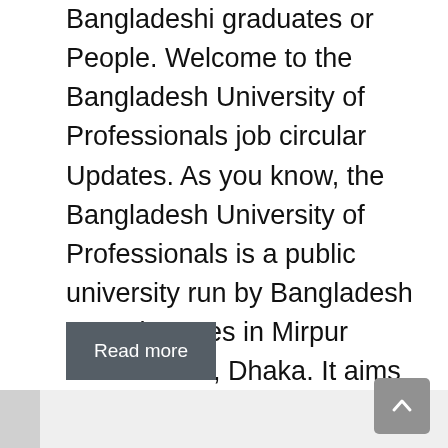Bangladeshi graduates or People. Welcome to the Bangladesh University of Professionals job circular Updates. As you know, the Bangladesh University of Professionals is a public university run by Bangladesh Armed Forces in Mirpur Cantonment, Dhaka. It aims to facilitate professional degrees and to run undergraduate, graduate, and postgraduate …
Read more
Government Jobs, BD Jobs Today, University Jobs